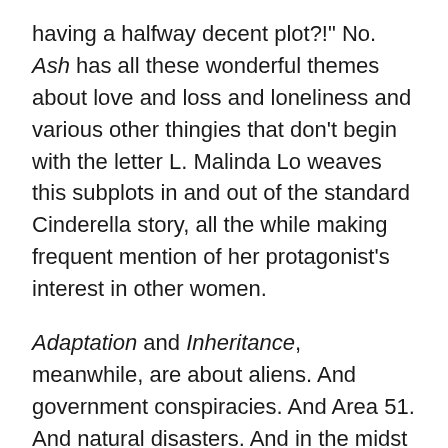having a halfway decent plot?!" No. Ash has all these wonderful themes about love and loss and loneliness and various other thingies that don't begin with the letter L. Malinda Lo weaves this subplots in and out of the standard Cinderella story, all the while making frequent mention of her protagonist's interest in other women.
Adaptation and Inheritance, meanwhile, are about aliens. And government conspiracies. And Area 51. And natural disasters. And in the midst of all those glorious plots and subplots, Lo finds time to discuss things like gender and biphobia and the mass media's fraught relationship with queer celebrities.
I love this. I love what she's doing in the world of YA fiction. It really makes a difference, having diverse stories that A) don't gloss over their characters' minority status